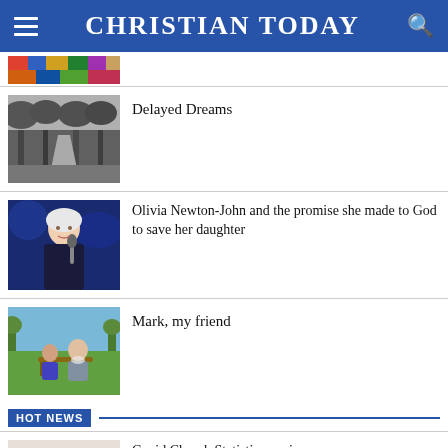CHRISTIAN TODAY
[Figure (photo): Thumbnail image of colorful mosaic or artwork at the top article row]
[Figure (photo): Black and white photo of a tree-lined path]
Delayed Dreams
[Figure (photo): Photo of a woman with white/blonde hair singing on stage with a microphone]
Olivia Newton-John and the promise she made to God to save her daughter
[Figure (photo): Photo of two people sitting on a park bench outdoors]
Mark, my friend
HOT NEWS
[Figure (photo): Photo of a person holding a tablet device]
Covid Church Statistics are in